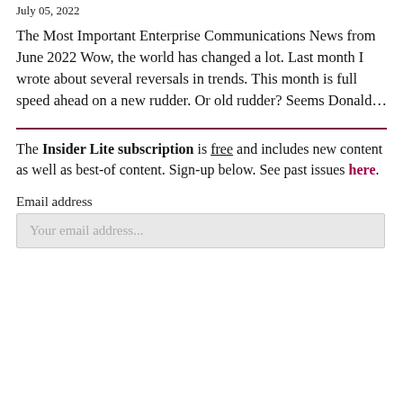July 05, 2022
The Most Important Enterprise Communications News from June 2022 Wow, the world has changed a lot. Last month I wrote about several reversals in trends. This month is full speed ahead on a new rudder. Or old rudder? Seems Donald…
The Insider Lite subscription is free and includes new content as well as best-of content. Sign-up below. See past issues here.
Email address
Your email address...